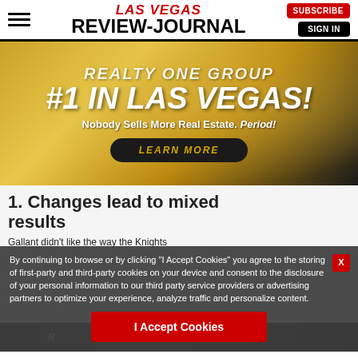LAS VEGAS REVIEW-JOURNAL | SUBSCRIBE | SIGN IN
[Figure (advertisement): Realty One Group advertisement with gold background. Text: REALTY ONE GROUP #1 IN LAS VEGAS! Nobody Sells More Real Estate. Period! LEARN MORE button.]
1. Changes lead to mixed results
Gallant didn't like the way the Knights
By continuing to browse or by clicking "I Accept Cookies" you agree to the storing of first-party and third-party cookies on your device and consent to the disclosure of your personal information to our third party service providers or advertising partners to optimize your experience, analyze traffic and personalize content.
I Accept Cookies